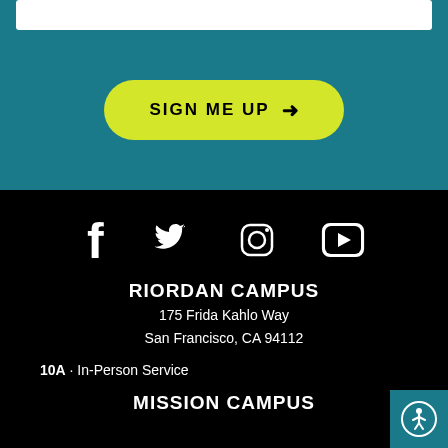[Figure (screenshot): White input bar at top of teal section]
[Figure (infographic): Yellow rounded button with text SIGN ME UP and right arrow on teal background]
[Figure (infographic): Social media icons: Facebook, Twitter, Instagram, YouTube on black background]
RIORDAN CAMPUS
175 Frida Kahlo Way
San Francisco, CA 94112
10A · In-Person Service
MISSION CAMPUS
[Figure (infographic): Accessibility button (person icon in circle) in teal, bottom right corner]